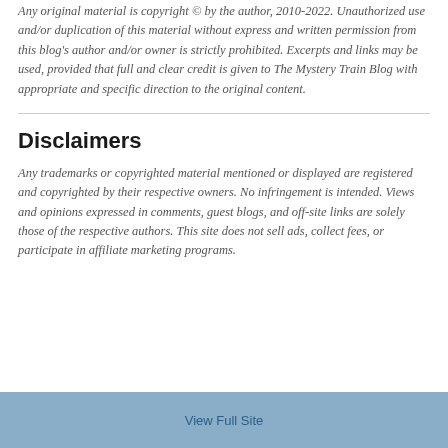Any original material is copyright © by the author, 2010-2022. Unauthorized use and/or duplication of this material without express and written permission from this blog's author and/or owner is strictly prohibited. Excerpts and links may be used, provided that full and clear credit is given to The Mystery Train Blog with appropriate and specific direction to the original content.
Disclaimers
Any trademarks or copyrighted material mentioned or displayed are registered and copyrighted by their respective owners. No infringement is intended. Views and opinions expressed in comments, guest blogs, and off-site links are solely those of the respective authors. This site does not sell ads, collect fees, or participate in affiliate marketing programs.
View Full Site